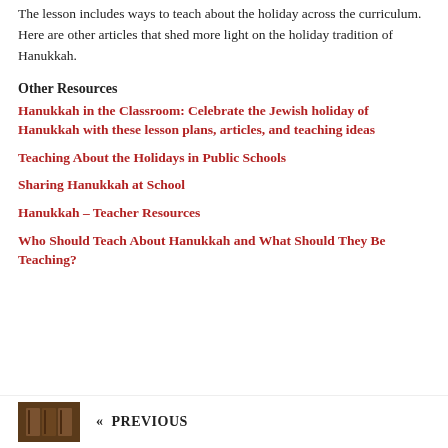The lesson includes ways to teach about the holiday across the curriculum. Here are other articles that shed more light on the holiday tradition of Hanukkah.
Other Resources
Hanukkah in the Classroom: Celebrate the Jewish holiday of Hanukkah with these lesson plans, articles, and teaching ideas
Teaching About the Holidays in Public Schools
Sharing Hanukkah at School
Hanukkah – Teacher Resources
Who Should Teach About Hanukkah and What Should They Be Teaching?
« PREVIOUS